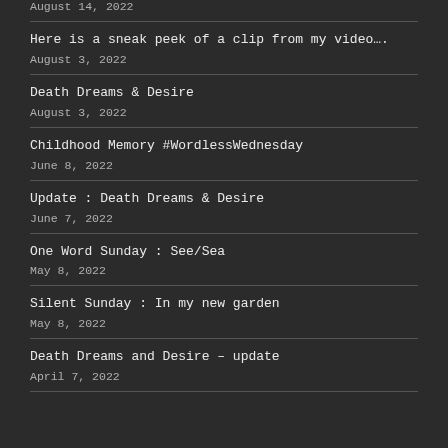August 14, 2022
Here is a sneak peek of a clip from my video….
August 3, 2022
Death Dreams & Desire
August 3, 2022
Childhood Memory #WordlessWednesday
June 8, 2022
Update : Death Dreams & Desire
June 7, 2022
One Word Sunday : See/Sea
May 8, 2022
Silent Sunday : In my new garden
May 8, 2022
Death Dreams and Desire – update
April 7, 2022